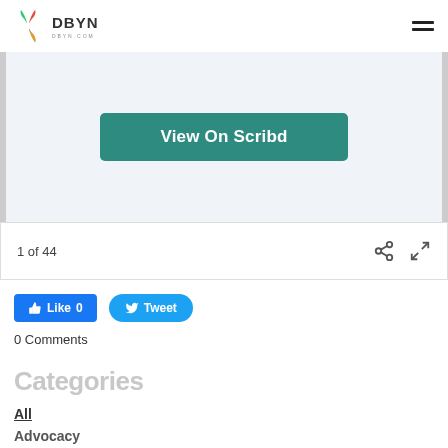DBYN
[Figure (screenshot): Scribd embedded document viewer showing a partial document preview with a teal 'View On Scribd' button in the center]
1 of 44
Like 0
Tweet
0 Comments
Categories
All
Advocacy